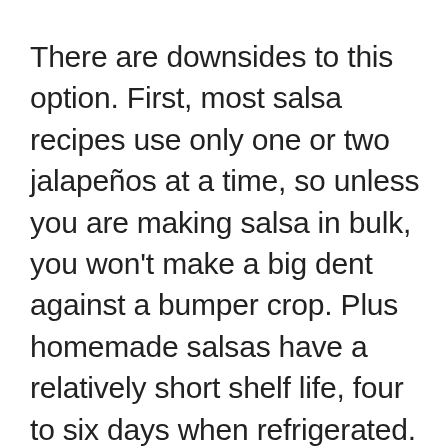There are downsides to this option. First, most salsa recipes use only one or two jalapeños at a time, so unless you are making salsa in bulk, you won't make a big dent against a bumper crop. Plus homemade salsas have a relatively short shelf life, four to six days when refrigerated. You can opt to freeze the salsas once made which will extend the usability time (two to three months), but frozen salsas tend to become soupy when thawed, so a frozen salsa is best for use as a flavor enhancer to other dishes rather than a standalone dip